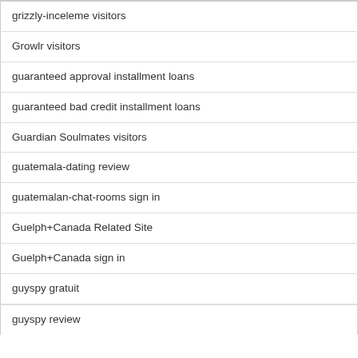grizzly-inceleme visitors
Growlr visitors
guaranteed approval installment loans
guaranteed bad credit installment loans
Guardian Soulmates visitors
guatemala-dating review
guatemalan-chat-rooms sign in
Guelph+Canada Related Site
Guelph+Canada sign in
guyspy gratuit
guyspy review